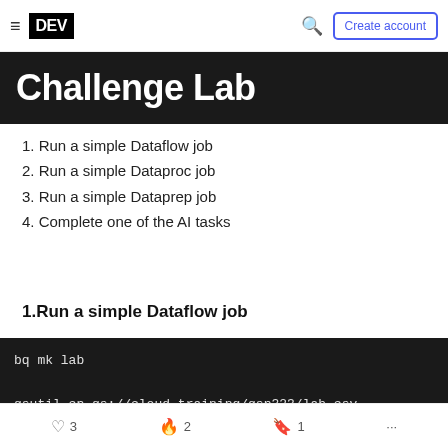DEV | Create account
[Figure (screenshot): Challenge Lab banner with white text on dark background]
1. Run a simple Dataflow job
2. Run a simple Dataproc job
3. Run a simple Dataprep job
4. Complete one of the AI tasks
1.Run a simple Dataflow job
bq mk lab

gsutil cp gs://cloud-training/gsp323/lab.csv .

cat lab.csv
3  2  1  ...